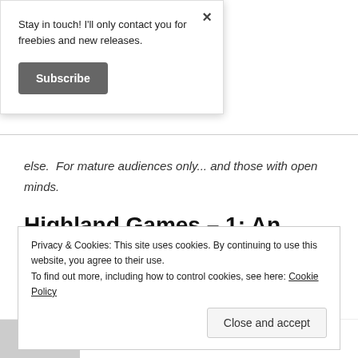Stay in touch! I'll only contact you for freebies and new releases.
Subscribe
else.  For mature audiences only... and those with open minds.
Highland Games – 1: An Erotica Novella 148 pages.
Privacy & Cookies: This site uses cookies. By continuing to use this website, you agree to their use.
To find out more, including how to control cookies, see here: Cookie Policy
Close and accept
decoration